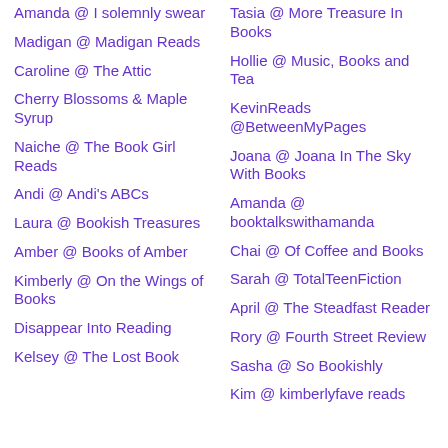Amanda @ I solemnly swear
Madigan @ Madigan Reads
Caroline @ The Attic
Cherry Blossoms & Maple Syrup
Naiche @ The Book Girl Reads
Andi @ Andi's ABCs
Laura @ Bookish Treasures
Amber @ Books of Amber
Kimberly @ On the Wings of Books
Disappear Into Reading
Kelsey @ The Lost Book
Tasia @ More Treasure In Books
Hollie @ Music, Books and Tea
KevinReads @BetweenMyPages
Joana @ Joana In The Sky With Books
Amanda @ booktalkswithamanda
Chai @ Of Coffee and Books
Sarah @ TotalTeenFiction
April @ The Steadfast Reader
Rory @ Fourth Street Review
Sasha @ So Bookishly
Kim @ kimberlyfave reads